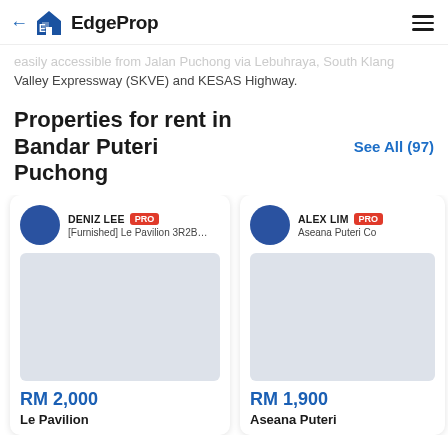EdgeProp
easily accessible from Jalan Puchong via Lebuhraya, South Klang Valley Expressway (SKVE) and KESAS Highway.
Properties for rent in Bandar Puteri Puchong
See All (97)
[Figure (screenshot): Property listing card for DENIZ LEE PRO - [Furnished] Le Pavilion 3R2B,... RM 2,000 Le Pavilion]
[Figure (screenshot): Property listing card for ALEX LIM PRO - Aseana Puteri Co... RM 1,900 Aseana Puteri]